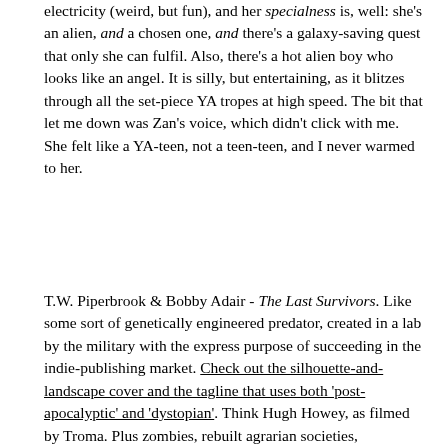electricity (weird, but fun), and her specialness is, well: she's an alien, and a chosen one, and there's a galaxy-saving quest that only she can fulfil. Also, there's a hot alien boy who looks like an angel. It is silly, but entertaining, as it blitzes through all the set-piece YA tropes at high speed. The bit that let me down was Zan's voice, which didn't click with me. She felt like a YA-teen, not a teen-teen, and I never warmed to her.
T.W. Piperbrook & Bobby Adair - The Last Survivors. Like some sort of genetically engineered predator, created in a lab by the military with the express purpose of succeeding in the indie-publishing market. Check out the silhouette-and-landscape cover and the tagline that uses both 'post-apocalyptic' and 'dystopian'. Think Hugh Howey, as filmed by Troma. Plus zombies, rebuilt agrarian societies,